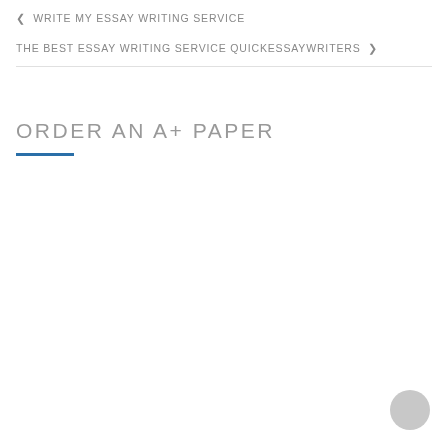WRITE MY ESSAY WRITING SERVICE
THE BEST ESSAY WRITING SERVICE QUICKESSAYWRITERS
ORDER AN A+ PAPER